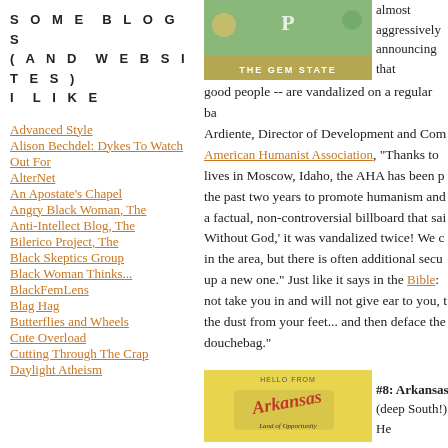SOME BLOGS (AND WEBSITES) I LIKE
Advanced Style
Alison Bechdel: Dykes To Watch Out For
AlterNet
An Apostate's Chapel
Angry Black Woman, The
Anti-Intellect Blog, The
Bilerico Project, The
Black Skeptics Group
Black Woman Thinks...
BlackFemLens
Blag Hag
Butterflies and Wheels
Cute Overload
Cutting Through The Crap
Daylight Atheism
[Figure (photo): Vintage postcard reading THE GEM STATE]
almost aggressively announcing that good people -- are vandalized on a regular ba... Ardiente, Director of Development and Com... American Humanist Association, "Thanks to... lives in Moscow, Idaho, the AHA has been p... the past two years to promote humanism and... a factual, non-controversial billboard that sai... Without God,' it was vandalized twice! We c... in the area, but there is often additional secu... up a new one." Just like it says in the Bible: ... not take you in and will not give ear to you, t... the dust from your feet... and then deface the... douchebag."
[Figure (photo): Vintage Arkansas postcard - Land of Opportunity]
#8: Arkansas. (deep South!) He...